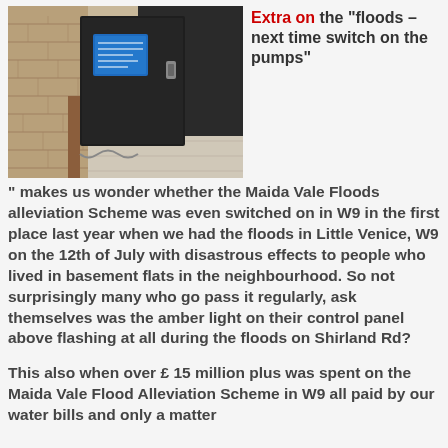[Figure (photo): Photo of a black electrical control panel/box mounted on a brick wall next to a gate, with a blue label on it. Located outdoors on a pavement.]
Extra on the “floods – next time switch on the pumps” makes us wonder whether the Maida Vale Floods alleviation Scheme was even switched on in W9 in the first place last year when we had the floods in Little Venice, W9 on the 12th of July with disastrous effects to people who lived in basement flats in the neighbourhood. So not surprisingly many who go pass it regularly, ask themselves was the amber light on their control panel above flashing at all during the floods on Shirland Rd?
This also when over £ 15 million plus was spent on the Maida Vale Flood Alleviation Scheme in W9 all paid by our water bills and only a matter